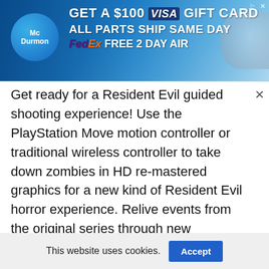[Figure (screenshot): McDurmon advertisement banner: GET A $100 VISA GIFT CARD, ALL PARTS SHIP SAME DAY, FedEx FREE 2 DAY AIR]
Get ready for a Resident Evil guided shooting experience! Use the PlayStation Move motion controller or traditional wireless controller to take down zombies in HD re-mastered graphics for a new kind of Resident Evil horror experience. Relive events from the original series through new perspectives with classic characters.
ESRB: M
File Size: 5.34 GB
This website uses cookies.
[Figure (screenshot): Social sharing bar with Like 0, Facebook, Twitter, and Mail buttons]